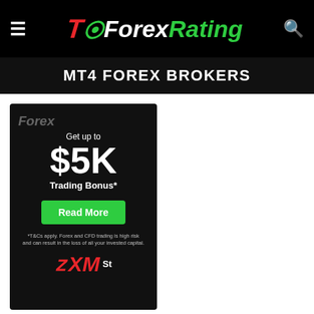[Figure (logo): TopForexRating navigation bar with hamburger menu, logo, and search icon on black background]
MT4 FOREX BROKERS
[Figure (infographic): XM broker advertisement banner on dark background: 'Get up to $5K Trading Bonus*', Read More button in green, disclaimer text, XM logo at bottom]